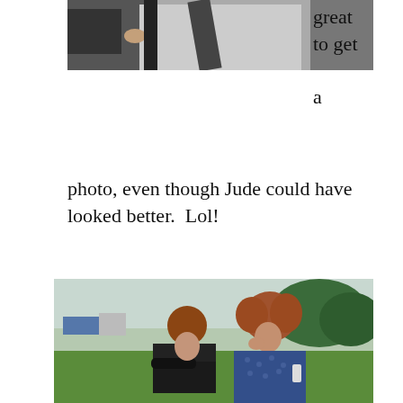[Figure (photo): Top portion of a photograph showing two people, partially cropped, one wearing a white and black outfit]
great to get a photo, even though Jude could have looked better.  Lol!
[Figure (photo): Two women with reddish/curly hair standing outdoors on grass, talking and laughing, with trees and countryside in the background]